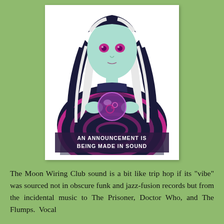[Figure (illustration): Psychedelic illustration of a pale green-skinned woman with long black and white striped hair holding a glowing crystal ball. The lower body forms a large hypnotic swirl of dark and magenta/purple stripes. Text at the bottom reads 'AN ANNOUNCEMENT IS BEING MADE IN SOUND'. The image has a retro 1960s pop-art style.]
The Moon Wiring Club sound is a bit like trip hop if its "vibe" was sourced not in obscure funk and jazz-fusion records but from the incidental music to The Prisoner, Doctor Who, and The Flumps.  Vocal